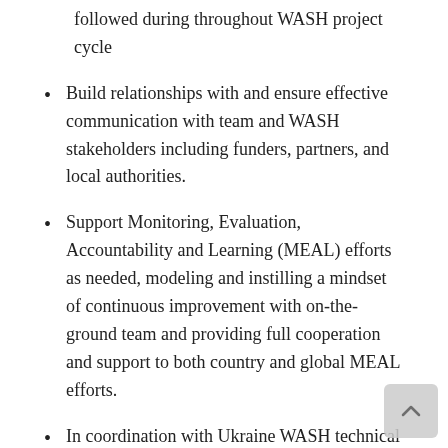followed during throughout WASH project cycle
Build relationships with and ensure effective communication with team and WASH stakeholders including funders, partners, and local authorities.
Support Monitoring, Evaluation, Accountability and Learning (MEAL) efforts as needed, modeling and instilling a mindset of continuous improvement with on-the-ground team and providing full cooperation and support to both country and global MEAL efforts.
In coordination with Ukraine WASH technical lead, support professional and technical development of local WASH staff and stakeholders; manage, coach and support field team including WASH engineer